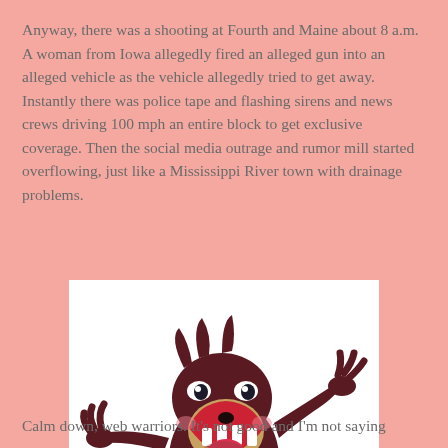Anyway, there was a shooting at Fourth and Maine about 8 a.m. A woman from Iowa allegedly fired an alleged gun into an alleged vehicle as the vehicle allegedly tried to get away. Instantly there was police tape and flashing sirens and news crews driving 100 mph an entire block to get exclusive coverage. Then the social media outrage and rumor mill started overflowing, just like a Mississippi River town with drainage problems.
[Figure (illustration): Cartoon illustration of the Tasmanian Devil (Taz) from Looney Tunes spinning in a tornado/whirlwind, with mouth open wide showing teeth, arms outstretched, on a white background.]
Calm down, web warriors. It's not good and I'm not saying